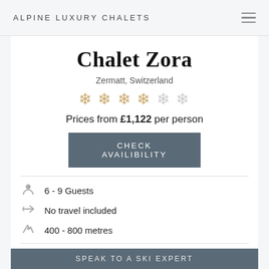ALPINE LUXURY CHALETS
Chalet Zora
Zermatt, Switzerland
★★★★☆☆ (4 out of 6 snowflakes rating)
Prices from £1,122 per person
CHECK AVAILIBILITY
6 - 9 Guests
No travel included
400 - 800 metres
Self-Catered
Fireplace
SPEAK TO A SKI EXPERT